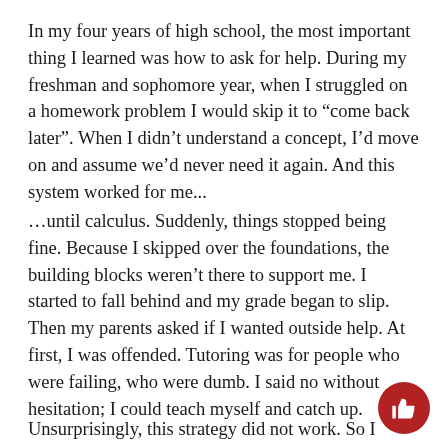In my four years of high school, the most important thing I learned was how to ask for help. During my freshman and sophomore year, when I struggled on a homework problem I would skip it to “come back later”. When I didn’t understand a concept, I’d move on and assume we’d never need it again. And this system worked for me...
…until calculus. Suddenly, things stopped being fine. Because I skipped over the foundations, the building blocks weren’t there to support me. I started to fall behind and my grade began to slip. Then my parents asked if I wanted outside help. At first, I was offended. Tutoring was for people who were failing, who were dumb. I said no without hesitation; I could teach myself and catch up.
Unsurprisingly, this strategy did not work. So I finally